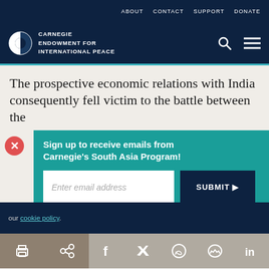ABOUT   CONTACT   SUPPORT   DONATE
[Figure (logo): Carnegie Endowment for International Peace logo with circular icon and white text on dark navy background]
The prospective economic relations with India consequently fell victim to the battle between the
Sign up to receive emails from Carnegie's South Asia Program!
Enter email address
SUBMIT ▶
our cookie policy.
Social share icons: print, share, facebook, twitter, whatsapp, messenger, linkedin